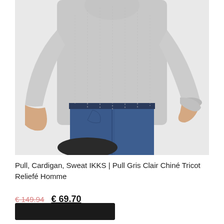[Figure (photo): A man wearing a light grey textured knit sweater and blue jeans, seated on a dark stool, showing the torso and arms of the outfit against a white/light grey background.]
Pull, Cardigan, Sweat IKKS | Pull Gris Clair Chiné Tricot Reliefé Homme
€ 149.94   € 69.70